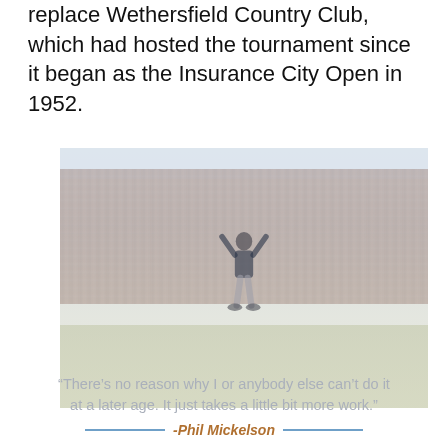replace Wethersfield Country Club, which had hosted the tournament since it began as the Insurance City Open in 1952.
[Figure (photo): A golfer (Phil Mickelson) celebrating with arms raised above head, surrounded by a large crowd of spectators on a golf course. The image has a faded, washed-out appearance.]
“There’s no reason why I or anybody else can’t do it at a later age. It just takes a little bit more work.” -Phil Mickelson